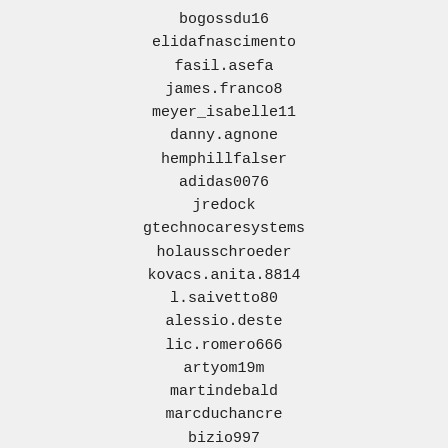bogossdu16
elidafnascimento
fasil.asefa
james.franco8
meyer_isabelle11
danny.agnone
hemphillfalser
adidas0076
jredock
gtechnocaresystems
holausschroeder
kovacs.anita.8814
l.saivetto80
alessio.deste
lic.romero666
artyom19m
martindebald
marcduchancre
bizio997
mar312
lberryib
jerricfillmore
jp123054
hollyegner